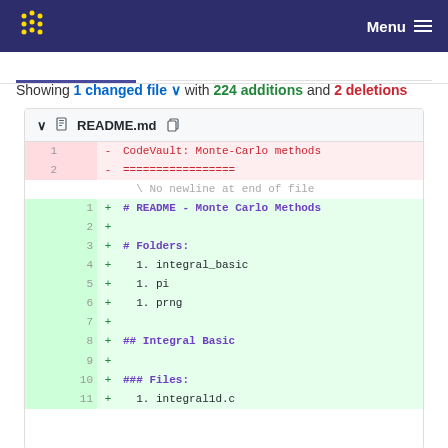Menu
Showing 1 changed file with 224 additions and 2 deletions
[Figure (screenshot): Git diff view of README.md showing 2 deleted lines (CodeVault: Monte-Carlo methods and underline) and added lines with markdown content including README - Monte Carlo Methods, Folders section, integral_basic, pi, prng items, Integral Basic section, Files: section]
README.md diff